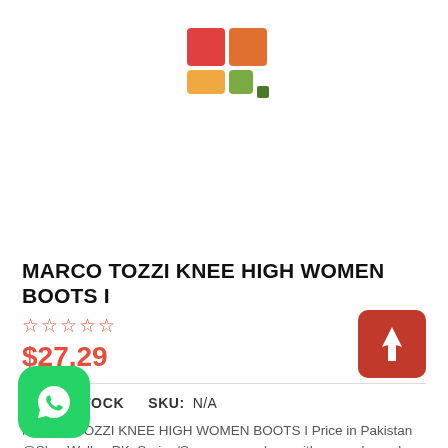[Figure (logo): ShoeWalker.PK logo — colorful grid of squares in red, orange, and green tones]
MARCO TOZZI KNEE HIGH WOMEN BOOTS I
★★★★★ (star rating, 0 stars filled) $27.29
IN STOCK   SKU: N/A
MARCO TOZZI KNEE HIGH WOMEN BOOTS I Price in Pakistan @ShoeWalker.PK. Spring/Summer sneakers with a sneaker sole Men/ Women can enjoy the best of both worlds.